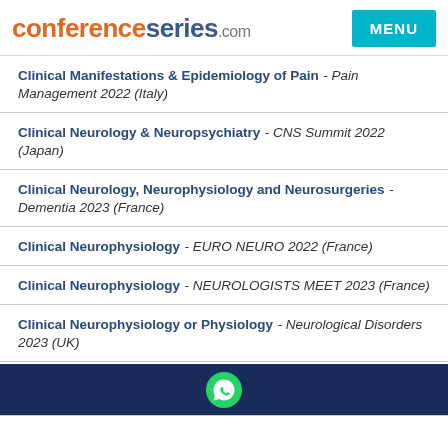conferenceseries.com MENU
Clinical Manifestations & Epidemiology of Pain - Pain Management 2022 (Italy)
Clinical Neurology & Neuropsychiatry - CNS Summit 2022 (Japan)
Clinical Neurology, Neurophysiology and Neurosurgeries - Dementia 2023 (France)
Clinical Neurophysiology - EURO NEURO 2022 (France)
Clinical Neurophysiology - NEUROLOGISTS MEET 2023 (France)
Clinical Neurophysiology or Physiology - Neurological Disorders 2023 (UK)